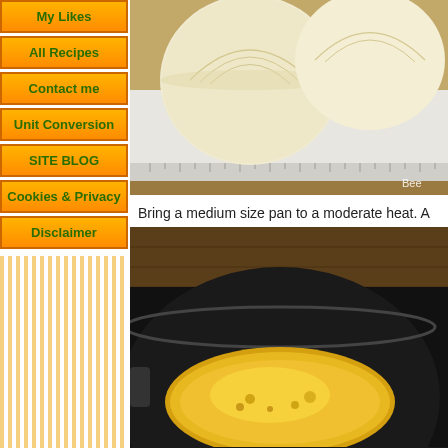My Likes
All Recipes
Contact me
Unit Conversion
SITE BLOG
Cookies & Privacy
Disclaimer
[Figure (photo): Peeled white onion halved on a white cutting board with a ruler visible, partially cropped. Watermark text 'Bee' visible bottom right.]
Bring a medium size pan to a moderate heat. A
[Figure (photo): Dark non-stick pan on a stove with butter or oil melted and bubbling inside, viewed from above at an angle.]